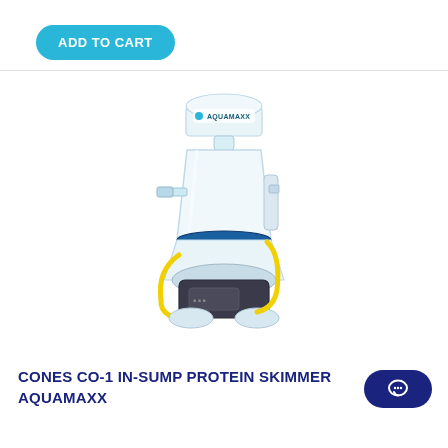[Figure (other): ADD TO CART button — teal rounded rectangle with white bold uppercase text]
[Figure (photo): AquaMaxx Cones CO-1 in-sump protein skimmer product photo on white background. Conical white plastic body with collection cup on top branded AQUAMAXX, yellow tubing, black pump at base, clear acrylic components.]
CONES CO-1 IN-SUMP PROTEIN SKIMMER AQUAMAXX
[Figure (other): Dark navy blue rounded pill-shaped chat/message bubble icon button in bottom right corner]